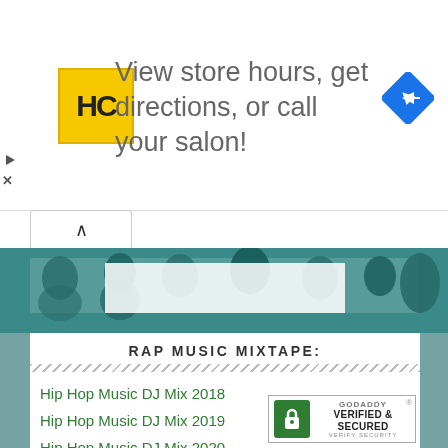[Figure (infographic): Advertisement banner: HC (Hair Club) logo in yellow square, text 'View store hours, get directions, or call your salon!', blue diamond directions icon on right. Play and X controls on far left.]
[Figure (photo): Teal-tinted banner photo showing people dancing/at a party, spanning full width.]
RAP MUSIC MIXTAPE:
Hip Hop Music DJ Mix 2018
Hip Hop Music DJ Mix 2019
Hip Hop Music DJ Mix 2020
Hip Hop Music DJ Mix 2021
[Figure (logo): GoDaddy Verified & Secured badge with lock icon]